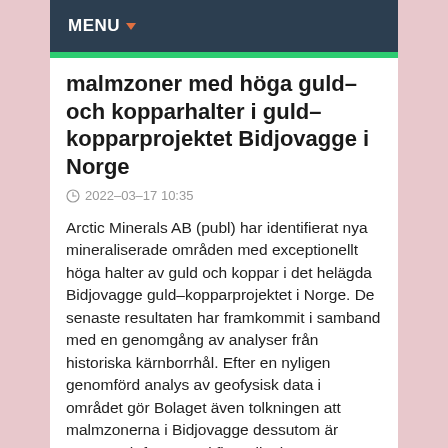MENU
malmzoner med höga guld– och kopparhalter i guld–kopparprojektet Bidjovagge i Norge
2022–03–17 10:35
Arctic Minerals AB (publ) har identifierat nya mineraliserade områden med exceptionellt höga halter av guld och koppar i det helägda Bidjovagge guld–kopparprojektet i Norge. De senaste resultaten har framkommit i samband med en genomgång av analyser från historiska kärnborrhål. Efter en nyligen genomförd analys av geofysisk data i området gör Bolaget även tolkningen att malmzonerna i Bidjovagge dessutom är öppna och fortsätter i flera riktningar.
Arctic Minerals identifierade